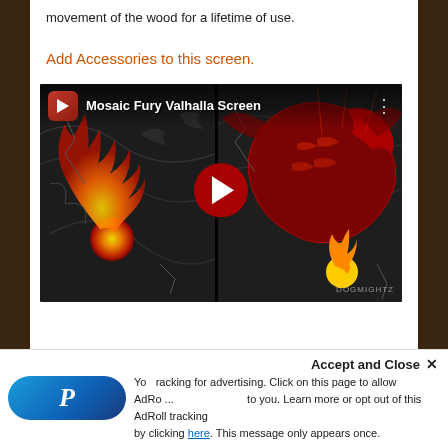movement of the wood for a lifetime of use.
Add Accessories to this screen.
[Figure (screenshot): YouTube video thumbnail for 'Mosaic Fury Valhalla Screen' showing an ornate game master screen with flame and dragon artwork, a red play button overlay, and a YouTube channel icon in the top left corner.]
You ... tracking for advertising. Click on this page to allow AdR... ... to you. Learn more or opt out of this AdRoll tracking by clicking here. This message only appears once.